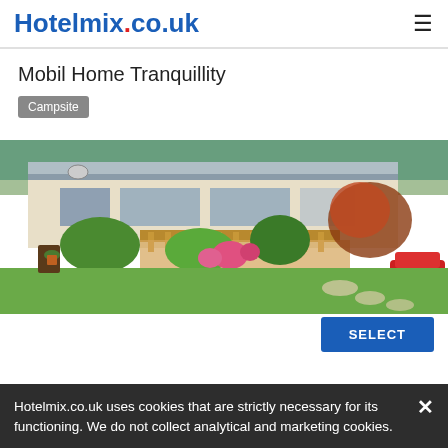Hotelmix.co.uk
Mobil Home Tranquillity
Campsite
[Figure (photo): Exterior photo of a mobile home with a wooden deck, garden flowers, and green lawn in front]
Hotelmix.co.uk uses cookies that are strictly necessary for its functioning. We do not collect analytical and marketing cookies.
Nature HolidayS Domaine HOme a Placard...